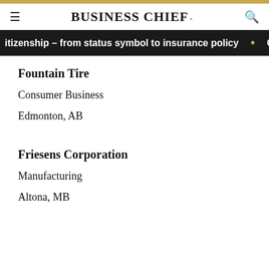BUSINESS CHIEF.
itizenship – from status symbol to insurance policy • C
Fountain Tire
Consumer Business
Edmonton, AB
Friesens Corporation
Manufacturing
Altona, MB